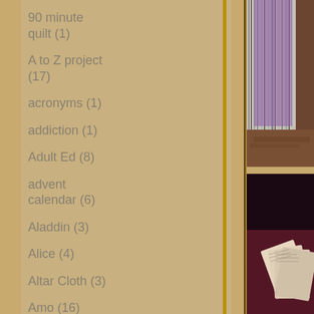90 minute quilt (1)
A to Z project (17)
acronyms (1)
addiction (1)
Adult Ed (8)
advent calendar (6)
Aladdin (3)
Alice (4)
Altar Cloth (3)
Amo (16)
Amy's
[Figure (photo): A quilt with purple fabric panel and striped textile hanging vertically, viewed from above on a wood floor]
[Figure (photo): Dark background with fabric and what appears to be cards or paper fanned out, dark maroon/burgundy textile visible]